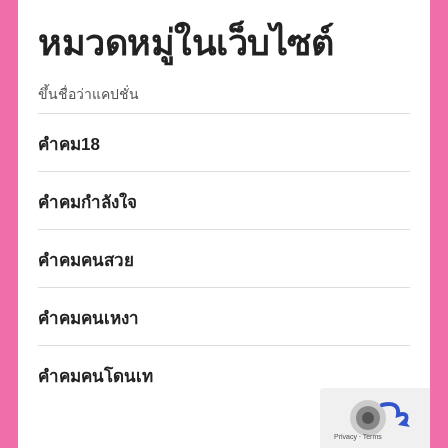หมวดหมู่ในเว็บไซต์
ขึ้นชื่อว่าแคปชั่น
คำคม18
คำคมกำลังใจ
คำคมคนสวย
คำคมคนเหงา
คำคมคนโดนเท